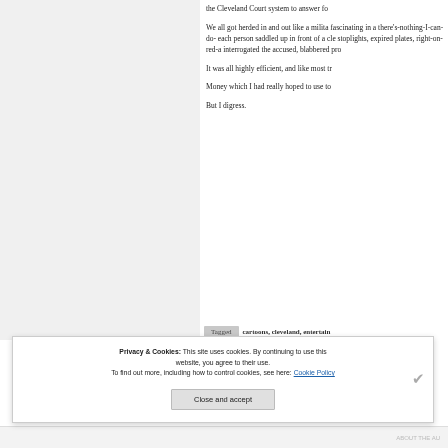the Cleveland Court system to answer fo
We all got herded in and out like a militar fascinating in a there's-nothing-I-can-do- each person saddled up in front of a clea stoplights, expired plates, right-on-red-at interrogated the accused, blabbered pro
It was all highly efficient, and like most tr
Money which I had really hoped to use to
But I digress.
Tagged  cartoons, cleveland, entertain
Privacy & Cookies: This site uses cookies. By continuing to use this website, you agree to their use.
To find out more, including how to control cookies, see here: Cookie Policy
Close and accept